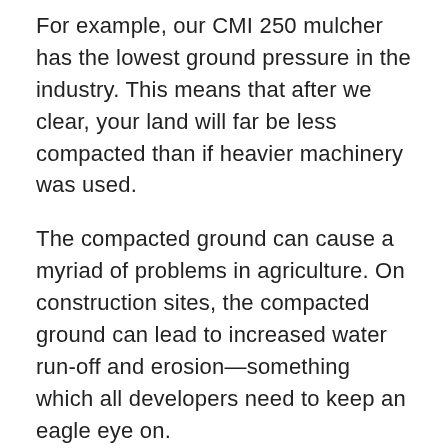For example, our CMI 250 mulcher has the lowest ground pressure in the industry. This means that after we clear, your land will far be less compacted than if heavier machinery was used.
The compacted ground can cause a myriad of problems in agriculture. On construction sites, the compacted ground can lead to increased water run-off and erosion—something which all developers need to keep an eagle eye on.
In the case of clearing service lines, the compacted ground can impact soil health